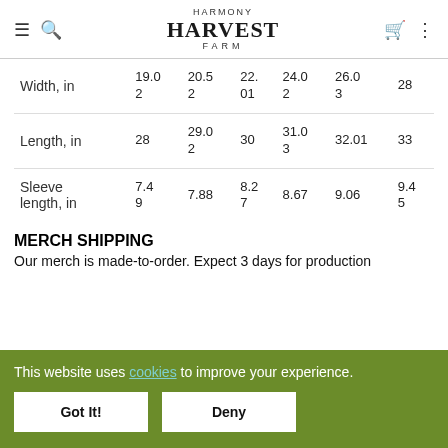Harmony Harvest Farm
|  | col1 | col2 | col3 | col4 | col5 | col6 |
| --- | --- | --- | --- | --- | --- | --- |
| Width, in | 19.02 | 20.52 | 22.01 | 24.02 | 26.03 | 28 |
| Length, in | 28 | 29.02 | 30 | 31.03 | 32.01 | 33 |
| Sleeve length, in | 7.49 | 7.88 | 8.27 | 8.67 | 9.06 | 9.45 |
MERCH SHIPPING
Our merch is made-to-order. Expect 3 days for production
This website uses cookies to improve your experience.
Got It!
Deny